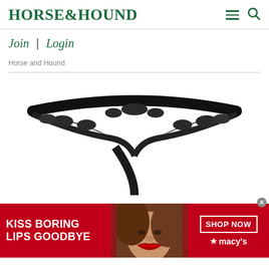HORSE&HOUND
Join | Login
Horse and Hound
[Figure (photo): Black lace thong underwear photographed on white background]
[Figure (photo): Advertisement banner: red background with close-up of woman with red lips. Text reads: KISS BORING LIPS GOODBYE. SHOP NOW. Macy's logo with star.]